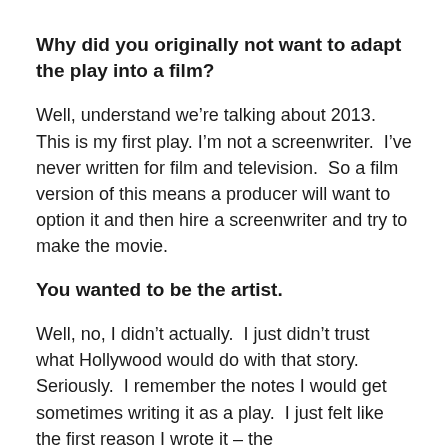Why did you originally not want to adapt the play into a film?
Well, understand we're talking about 2013.  This is my first play. I'm not a screenwriter.  I've never written for film and television.  So a film version of this means a producer will want to option it and then hire a screenwriter and try to make the movie.
You wanted to be the artist.
Well, no, I didn't actually.  I just didn't trust what Hollywood would do with that story.  Seriously.  I remember the notes I would get sometimes writing it as a play.  I just felt like the first reason I wrote it – the